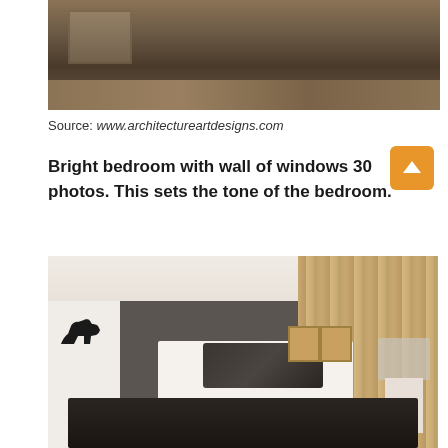[Figure (photo): Partial view of a bedroom with wooden flooring and a bed with grey/striped bedding, cropped from above]
Source: www.architectureartdesigns.com
Bright bedroom with wall of windows 30 photos. This sets the tone of the bedroom.
[Figure (photo): Modern minimalist bedroom with dark grey accent wall, white platform bed with dark throw blanket, wooden panel wall on right, white built-in shelves on left with horse figurine, crystal/acrylic lamp on white pedestal, two framed pictures on back wall, large dark shag rug on wooden floor]